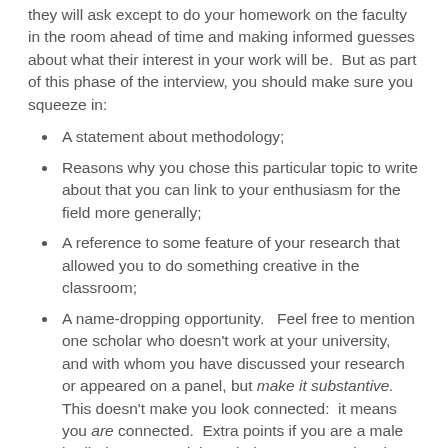they will ask except to do your homework on the faculty in the room ahead of time and making informed guesses about what their interest in your work will be.  But as part of this phase of the interview, you should make sure you squeeze in:
A statement about methodology;
Reasons why you chose this particular topic to write about that you can link to your enthusiasm for the field more generally;
A reference to some feature of your research that allowed you to do something creative in the classroom;
A name-dropping opportunity.   Feel free to mention one scholar who doesn't work at your university, and with whom you have discussed your research or appeared on a panel, but make it substantive.  This doesn't make you look connected:  it means you are connected.  Extra points if you are a male bodied person and the scholar you name-drop is a woman.